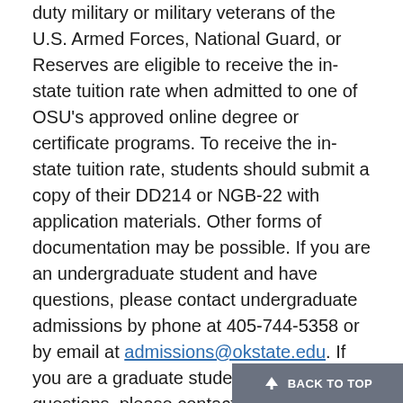duty military or military veterans of the U.S. Armed Forces, National Guard, or Reserves are eligible to receive the in-state tuition rate when admitted to one of OSU's approved online degree or certificate programs. To receive the in-state tuition rate, students should submit a copy of their DD214 or NGB-22 with application materials. Other forms of documentation may be possible. If you are an undergraduate student and have questions, please contact undergraduate admissions by phone at 405-744-5358 or by email at admissions@okstate.edu. If you are a graduate student and have questions, please contact the Graduate College by telephone at (405) 744-6368 or email at grad-i@okstate.edu.